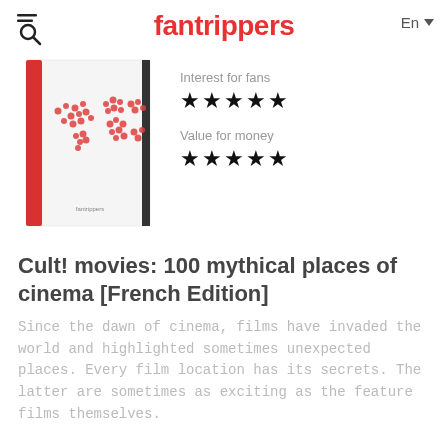fantrippers | En
[Figure (photo): Book cover of 'Cult! movies: 100 mythical places of cinema' showing a world map made of red circles/flowers on white background with red and black spine, fantrippers branding at bottom]
Interest for fans ★★★★★
Value for money ★★★★★
Cult! movies: 100 mythical places of cinema [French Edition]
Since the dawn of cinema, films have invaded the world and highlighted sometimes unexpected places. Every film location has its secrets. The latter are sometimes as exciting as the feature films themselves.